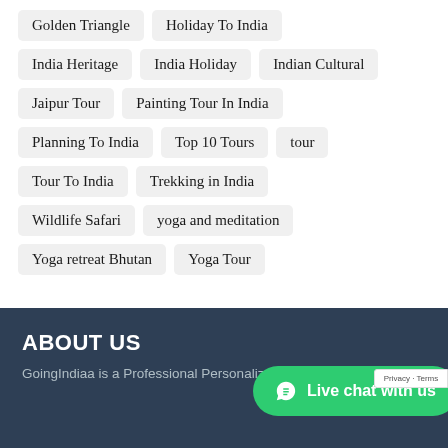Golden Triangle
Holiday To India
India Heritage
India Holiday
Indian Cultural
Jaipur Tour
Painting Tour In India
Planning To India
Top 10 Tours
tour
Tour To India
Trekking in India
Wildlife Safari
yoga and meditation
Yoga retreat Bhutan
Yoga Tour
ABOUT US
GoingIndiaa is a Professional Personalized Destination